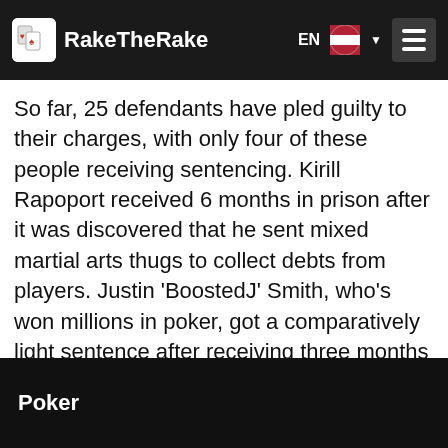RakeTheRake
So far, 25 defendants have pled guilty to their charges, with only four of these people receiving sentencing. Kirill Rapoport received 6 months in prison after it was discovered that he sent mixed martial arts thugs to collect debts from players. Justin 'BoostedJ' Smith, who's won millions in poker, got a comparatively light sentence after receiving three months of home confinement and two years of probation. Poker pros who helped run the ring and have yet to agree to a plea deal include Bill Edler, John Hanson and Abe Mosseri.
Poker